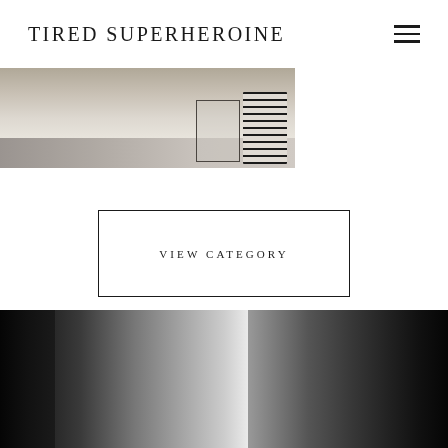TIRED SUPERHEROINE
[Figure (photo): Partial view of a home interior photograph showing a textured rug, a framed object, and a striped cylindrical vase/container on a light surface.]
VIEW CATEGORY
[Figure (photo): Black and white photograph of a woman with dark curly hair looking down at a newborn baby she is holding. A plant and a bright window are visible in the background.]